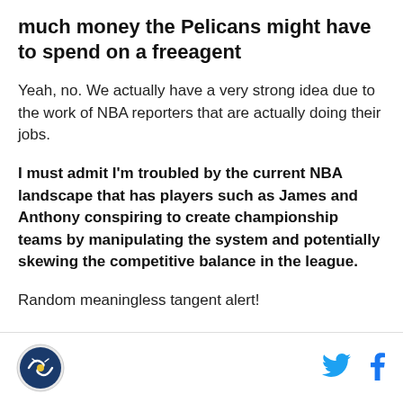much money the Pelicans might have to spend on a freeagent
Yeah, no. We actually have a very strong idea due to the work of NBA reporters that are actually doing their jobs.
I must admit I'm troubled by the current NBA landscape that has players such as James and Anthony conspiring to create championship teams by manipulating the system and potentially skewing the competitive balance in the league.
Random meaningless tangent alert!
[logo] [twitter] [facebook]